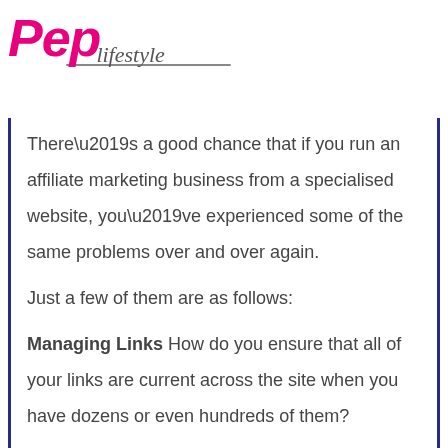Pep Lifestyle
There’s a good chance that if you run an affiliate marketing business from a specialised website, you’ve experienced some of the same problems over and over again.
Just a few of them are as follows:
Managing Links How do you ensure that all of your links are current across the site when you have dozens or even hundreds of them?